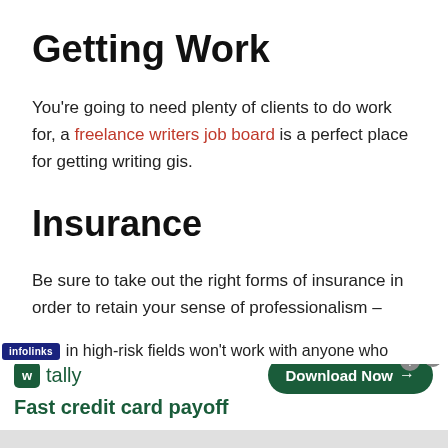Getting Work
You're going to need plenty of clients to do work for, a freelance writers job board is a perfect place for getting writing gis.
Insurance
Be sure to take out the right forms of insurance in order to retain your sense of professionalism –
clients in high-risk fields won't work with anyone who
[Figure (screenshot): Advertisement banner: Tally app - Fast credit card payoff with Download Now button and infolinks label overlay]